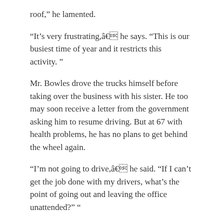roof,” he lamented.
“It’s very frustrating,â€ he says. “This is our busiest time of year and it restricts this activity. ”
Mr. Bowles drove the trucks himself before taking over the business with his sister. He too may soon receive a letter from the government asking him to resume driving. But at 67 with health problems, he has no plans to get behind the wheel again.
“I’m not going to drive,â€ he said. “If I can’t get the job done with my drivers, what’s the point of going out and leaving the office unattended?” ”
Related Posts:
There’s ‘Gnome Place Like Marquette’ | News,